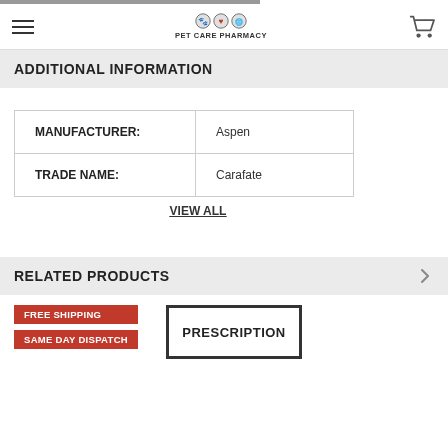Pet Care Pharmacy
ADDITIONAL INFORMATION
|  |  |
| --- | --- |
| MANUFACTURER: | Aspen |
| TRADE NAME: | Carafate |
VIEW ALL
RELATED PRODUCTS
FREE SHIPPING
SAME DAY DISPATCH
[Figure (other): Prescription product box image (partially visible)]